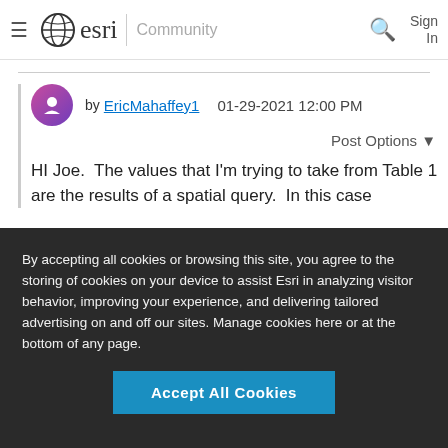≡ esri | Community   🔍   Sign In
by EricMahaffey1   01-29-2021 12:00 PM
Post Options ▼
HI Joe.  The values that I'm trying to take from Table 1 are the results of a spatial query.  In this case
By accepting all cookies or browsing this site, you agree to the storing of cookies on your device to assist Esri in analyzing visitor behavior, improving your experience, and delivering tailored advertising on and off our sites. Manage cookies here or at the bottom of any page.
Accept All Cookies